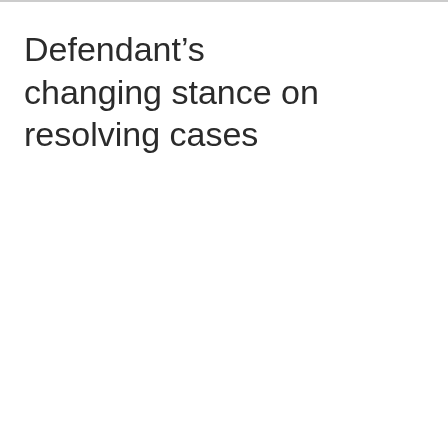Defendant’s changing stance on resolving cases